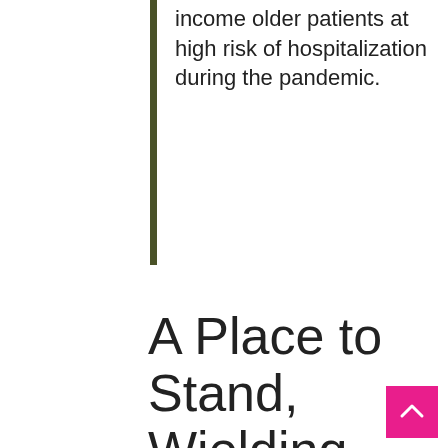income older patients at high risk of hospitalization during the pandemic.
A Place to Stand, Wielding Levers of Change